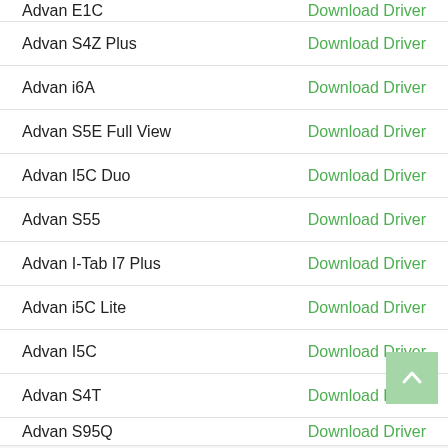Advan E1C | Download Driver
Advan S4Z Plus | Download Driver
Advan i6A | Download Driver
Advan S5E Full View | Download Driver
Advan I5C Duo | Download Driver
Advan S55 | Download Driver
Advan I-Tab I7 Plus | Download Driver
Advan i5C Lite | Download Driver
Advan I5C | Download Driver
Advan S4T | Download Driver
Advan S95Q | Download Driver